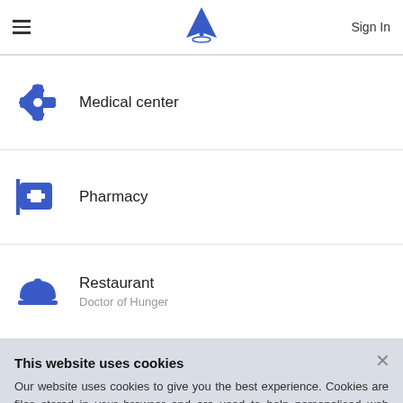Sign In
Medical center
Pharmacy
Restaurant
Doctor of Hunger
This website uses cookies
Our website uses cookies to give you the best experience. Cookies are files stored in your browser and are used to help personalised web experience. To continue to use our website you are agreeing to our use of cookies.
Accept cookies